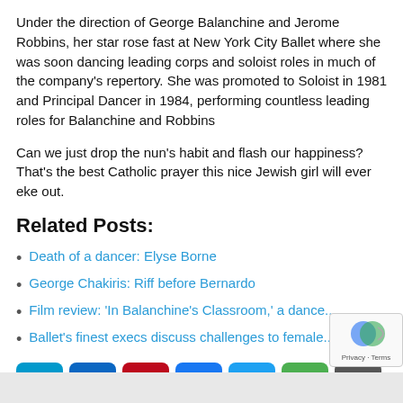Under the direction of George Balanchine and Jerome Robbins, her star rose fast at New York City Ballet where she was soon dancing leading corps and soloist roles in much of the company's repertory. She was promoted to Soloist in 1981 and Principal Dancer in 1984, performing countless leading roles for Balanchine and Robbins
Can we just drop the nun's habit and flash our happiness? That's the best Catholic prayer this nice Jewish girl will ever eke out.
Related Posts:
Death of a dancer: Elyse Borne
George Chakiris: Riff before Bernardo
Film review: 'In Balanchine's Classroom,' a dance...
Ballet's finest execs discuss challenges to female...
[Figure (infographic): Social sharing buttons row: Email (blue), LinkedIn (blue), Pinterest (red), Facebook (blue), Twitter (light blue), Print (green), More/Plus (gray)]